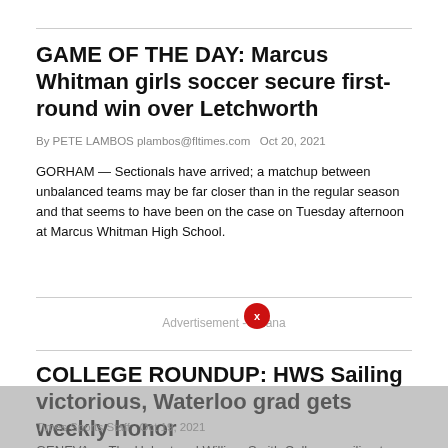GAME OF THE DAY: Marcus Whitman girls soccer secure first-round win over Letchworth
By PETE LAMBOS plambos@fltimes.com   Oct 20, 2021
GORHAM — Sectionals have arrived; a matchup between unbalanced teams may be far closer than in the regular season and that seems to have been on the case on Tuesday afternoon at Marcus Whitman High School.
Advertisement - indana
COLLEGE ROUNDUP: HWS Sailing victorious, Waterloo grad gets weekly honor
Times Sports Staff   Oct 19, 2021
GENEVA — The Hobart and William Smith Colleges sailing team won the David Lee Arnoff Trophy on Seneca Lake this past weekend, Oct. 16-17. It's the fifth-straight time the Colleges have won the trophy. In addition, William Smith sailors were in Cambridge, Massachusetts for the Women's